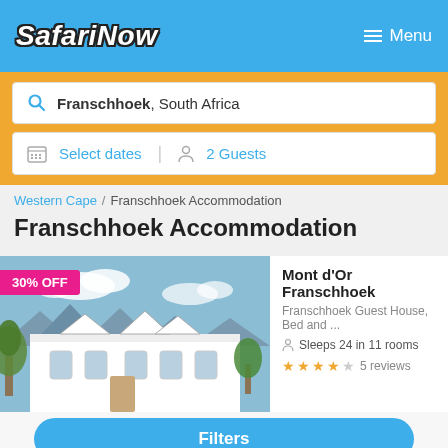SafariNow | Menu
Franschhoek, South Africa
Select dates   2 Guests
Western Cape / Franschhoek Accommodation
Franschhoek Accommodation
[Figure (photo): Photo of Mont d'Or Franschhoek building exterior with mountains in background, 30% OFF badge]
Mont d'Or Franschhoek
Franschhoek Guest House, Bed and ...
Sleeps 24 in 11 rooms
★★★★☆ 5 reviews
Filters
Avg per night for 2 guests